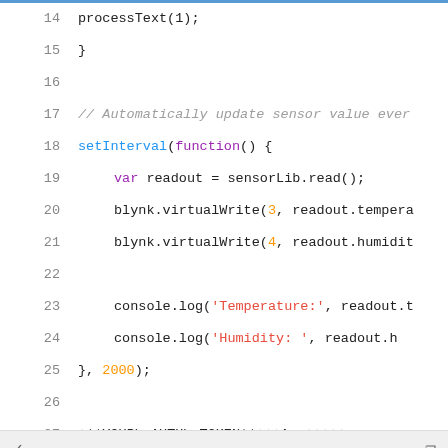[Figure (screenshot): Code editor screenshot showing JavaScript lines 14-27 with syntax highlighting. Lines include processText(1), closing brace, setInterval with function, var readout = sensorLib.read(), blynk.virtualWrite calls, console.log calls, and a YOUR_AUTH_TOKEN comment line.]
[Figure (screenshot): Terminal/command block with a collapse arrow and copy icon, showing line 1: sudo NODE_PATH=/usr/local/lib/node_modu]
このサイトはCookieを使用しています 詳細
返信する